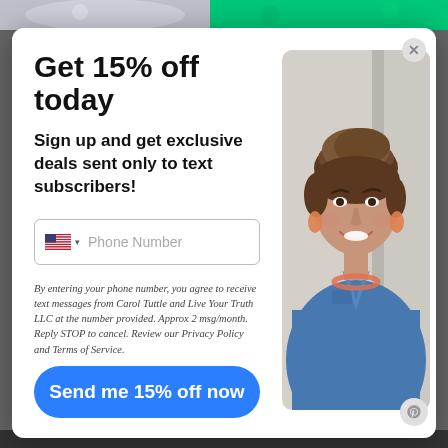Get 15% off today
Sign up and get exclusive deals sent only to text subscribers!
[Figure (other): Phone number input field with US flag and dropdown arrow, placeholder text 'Phone Number']
By entering your phone number, you agree to receive text messages from Carol Tuttle and Live Your Truth LLC at the number provided. Approx 2 msg/month. Reply STOP to cancel. Review our Privacy Policy and Terms of Service.
[Figure (other): Blue rounded button with white text 'Send me 15% off now']
[Figure (photo): Photo of a smiling woman with short brown hair, wearing a blue denim shirt, coral necklace and earrings]